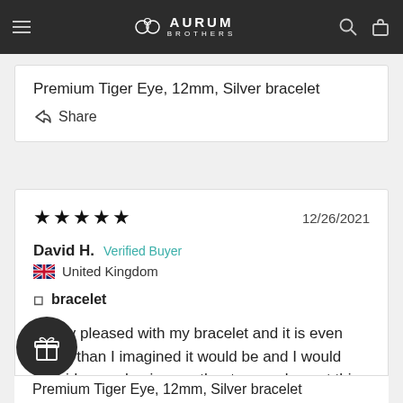Aurum Brothers
Premium Tiger Eye, 12mm, Silver bracelet
Share
★★★★★   12/26/2021
David H.   Verified Buyer
🇬🇧 United Kingdom
bracelet
Really pleased with my bracelet and it is even better than I imagined it would be and I would consider purchasing another to complement this one.
Premium Tiger Eye, 12mm, Silver bracelet